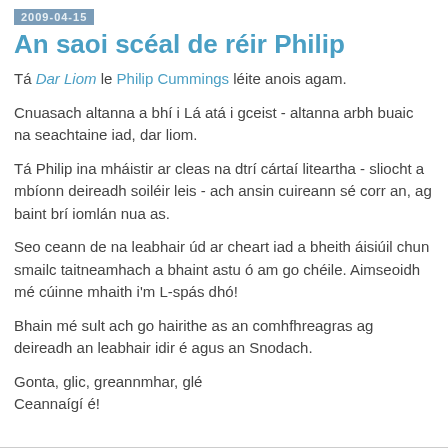2009-04-15
An saoi scéal de réir Philip
Tá Dar Liom le Philip Cummings léite anois agam.
Cnuasach altanna a bhí i Lá atá i gceist - altanna arbh buaic na seachtaine iad, dar liom.
Tá Philip ina mháistir ar cleas na dtrí cártaí liteartha - sliocht a mbíonn deireadh soiléir leis - ach ansin cuireann sé corr an, ag baint brí iomlán nua as.
Seo ceann de na leabhair úd ar cheart iad a bheith áisiúil chun smailc taitneamhach a bhaint astu ó am go chéile. Aimseoidh mé cúinne mhaith i'm L-spás dhó!
Bhain mé sult ach go hairithe as an comhfhreagras ag deireadh an leabhair idir é agus an Snodach.
Gonta, glic, greannmhar, glé
Ceannaígí é!